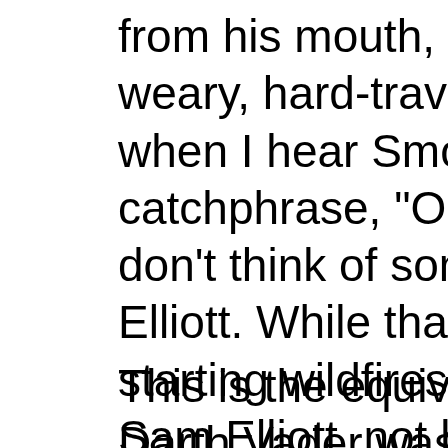from his mouth, they take on a weary, hard-traveled, hard-won when I hear Smokey's New catchphrase, "Only You Can don't think of some cartoon b Elliott. While that certainly pr starting wildfires, it's becaus Sam Elliott, not because I do some cartoon bear.
This is the equivalent of my t Darth Vader was their pitchn